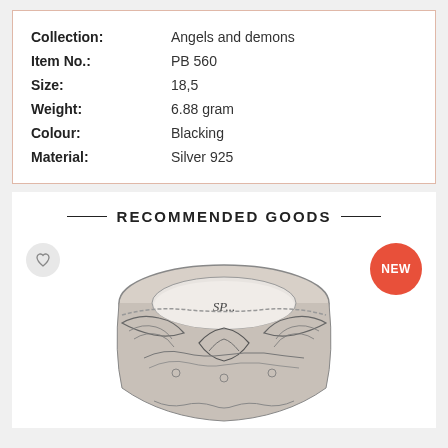| Collection: | Angels and demons |
| Item No.: | PB 560 |
| Size: | 18,5 |
| Weight: | 6.88 gram |
| Colour: | Blacking |
| Material: | Silver 925 |
— RECOMMENDED GOODS —
[Figure (photo): Silver ring with engraved angel wing pattern and SP brand mark on interior, shown from top angle. 'NEW' badge in red circle top right. Heart/wishlist button top left.]